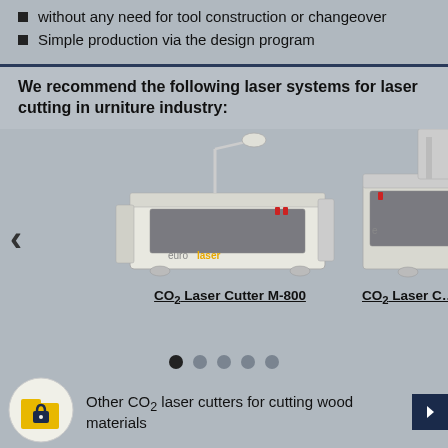without any need for tool construction or changeover
Simple production via the design program
We recommend the following laser systems for laser cutting in urniture industry:
[Figure (photo): CO2 Laser Cutter M-800 machine photo with eurolaser branding, showing a flat-bed laser cutting machine with exhaust arm on top]
CO₂ Laser Cutter M-800
[Figure (photo): Partially visible second CO2 laser cutter machine on the right side of the carousel]
CO₂ Laser C…
Other CO₂ laser cutters for cutting wood materials